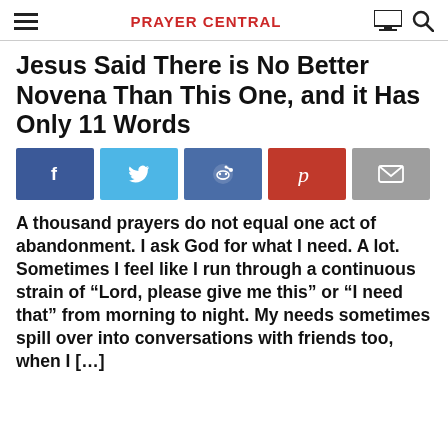PRAYER CENTRAL
Jesus Said There is No Better Novena Than This One, and it Has Only 11 Words
[Figure (infographic): Social share buttons: Facebook, Twitter, Reddit, Pinterest, Email]
A thousand prayers do not equal one act of abandonment. I ask God for what I need. A lot. Sometimes I feel like I run through a continuous strain of “Lord, please give me this” or “I need that” from morning to night. My needs sometimes spill over into conversations with friends too, when I […]